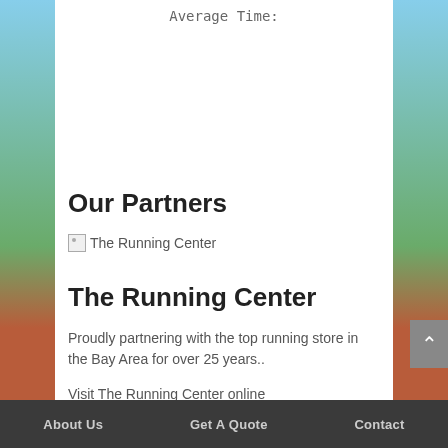Average Time:
Our Partners
[Figure (photo): Broken image placeholder for The Running Center logo]
The Running Center
Proudly partnering with the top running store in the Bay Area for over 25 years..
Visit The Running Center online
About Us   Get A Quote   Contact